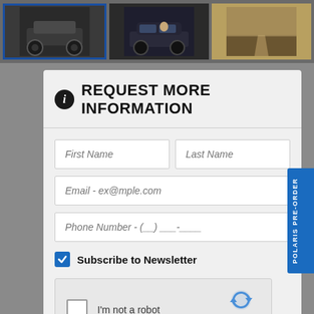[Figure (photo): Three vehicle thumbnail images in a strip at top; left image (ATV/side-by-side) is selected with blue border, center shows a car/SUV, right shows a landscape scene.]
REQUEST MORE INFORMATION
First Name
Last Name
Email - ex@mple.com
Phone Number - (__) ___-____
Subscribe to Newsletter
[Figure (screenshot): reCAPTCHA widget with unchecked checkbox, 'I'm not a robot' text, reCAPTCHA logo and Privacy - Terms links.]
SUBMIT
By pressing SUBMIT, you agree that DX1, LLC and Baldwin County Victory Polaris may